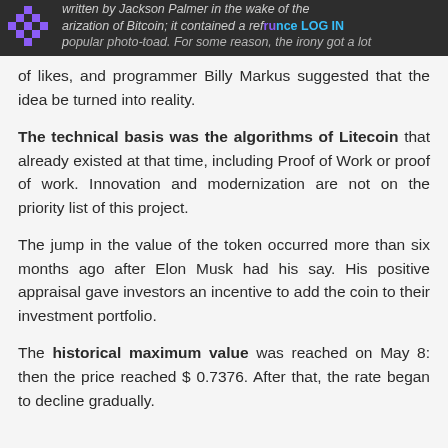written by Jackson Palmer in the wake of the popularization of Bitcoin; it contained a reference RU LOG IN popular photo-toad. For some reason, the irony got a lot
of likes, and programmer Billy Markus suggested that the idea be turned into reality.
The technical basis was the algorithms of Litecoin that already existed at that time, including Proof of Work or proof of work. Innovation and modernization are not on the priority list of this project.
The jump in the value of the token occurred more than six months ago after Elon Musk had his say. His positive appraisal gave investors an incentive to add the coin to their investment portfolio.
The historical maximum value was reached on May 8: then the price reached $ 0.7376. After that, the rate began to decline gradually.